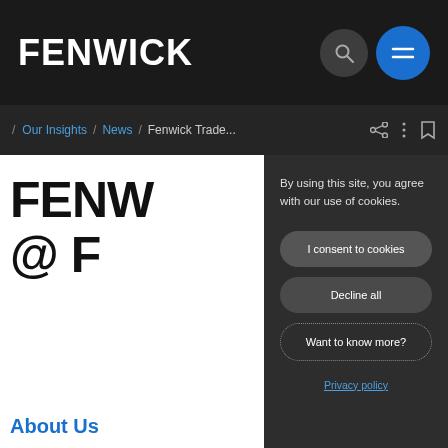FENWICK
/ Our Insights / News / Fenwick Trade...
FENW @ F
By using this site, you agree with our use of cookies.
I consent to cookies
Decline all
Want to know more?
Privacy policy
About Us